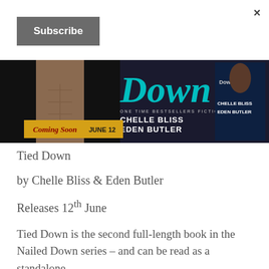×
Subscribe
[Figure (illustration): Book promotional banner for 'Tied Down' by Chelle Bliss and Eden Butler. Shows a shirtless man, title 'Down' in large letters, 'Coming Soon JUNE 12', authors' names, and a smaller book cover on the right.]
Tied Down
by Chelle Bliss & Eden Butler
Releases 12th June
Tied Down is the second full-length book in the Nailed Down series – and can be read as a standalone.
Genre: Romantic Suspense